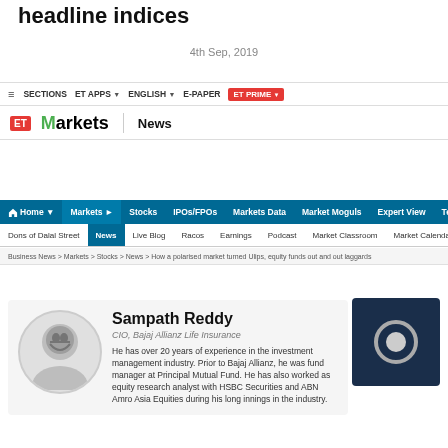headline indices
4th Sep, 2019
SECTIONS  ET APPS  ENGLISH  E-PAPER  ET PRIME
[Figure (logo): ET Markets News logo]
Home | Markets | Stocks | IPOs/FPOs | Markets Data | Market Moguls | Expert View | Technicals | Con
Dons of Dalal Street | News | Live Blog | Racos | Earnings | Podcast | Market Classroom | Market Calendar | Stoc
Business News > Markets > Stocks > News > How a polarised market turned Ulips, equity funds out and out laggards
Sampath Reddy
CIO, Bajaj Allianz Life Insurance
He has over 20 years of experience in the investment management industry. Prior to Bajaj Allianz, he was fund manager at Principal Mutual Fund. He has also worked as equity research analyst with HSBC Securities and ABN Amro Asia Equities during his long innings in the industry.